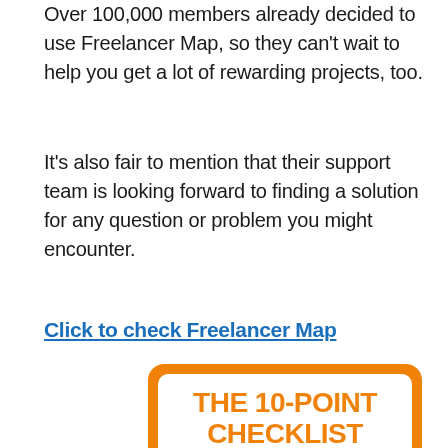Over 100,000 members already decided to use Freelancer Map, so they can't wait to help you get a lot of rewarding projects, too.
It's also fair to mention that their support team is looking forward to finding a solution for any question or problem you might encounter.
Click to check Freelancer Map
[Figure (infographic): Orange rounded rectangle containing 'THE 10-POINT CHECKLIST' title in white box with orange text, and below it orange background with white text: 'Are you looking forward to starting a drop servicing business but not sure where to start? No matter what business model you're involved in, you']